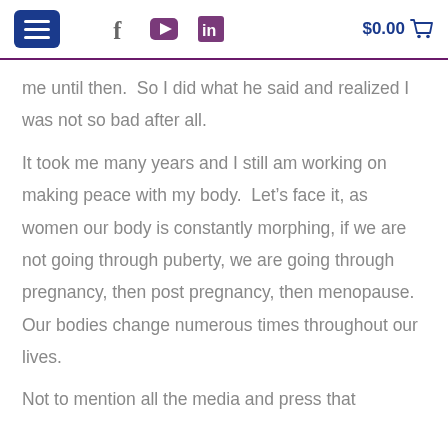[$0.00 cart]
me until then.  So I did what he said and realized I was not so bad after all.
It took me many years and I still am working on making peace with my body.  Let’s face it, as women our body is constantly morphing, if we are not going through puberty, we are going through pregnancy, then post pregnancy, then menopause.   Our bodies change numerous times throughout our lives.
Not to mention all the media and press that